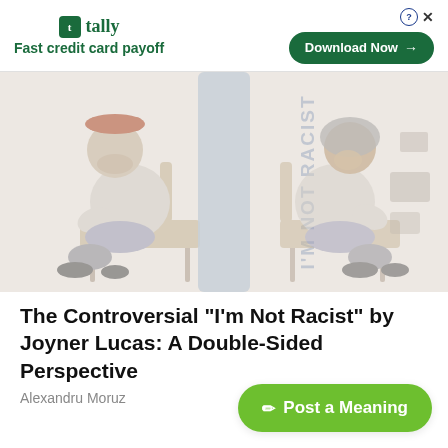[Figure (infographic): Tally app advertisement banner with green logo, tagline 'Fast credit card payoff', and a 'Download Now' button with arrow]
[Figure (illustration): Two people sitting across from each other on chairs with a pillar in the center, partially showing text 'I'm Not Racist' — article thumbnail illustration]
The Controversial "I'm Not Racist" by Joyner Lucas: A Double-Sided Perspective
Alexandru Moruz
1 year ago
Post a Meaning